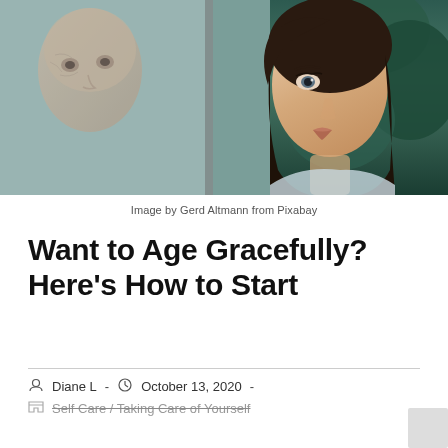[Figure (photo): Two people near a window: an elderly man's reflection on the left, and a young woman with dark hair gazing to the side on the right]
Image by Gerd Altmann from Pixabay
Want to Age Gracefully? Here's How to Start
Diane L  -  October 13, 2020  -
Self Care  /  Taking Care of Yourself